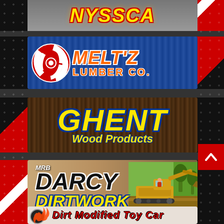[Figure (logo): NYSSCA logo banner (partially visible at top)]
[Figure (logo): Meltz Lumber Co. sponsor banner with saw blade logo on blue wood-grain background]
[Figure (logo): Ghent Wood Products sponsor banner with yellow stylized text on dark wood-grain background]
[Figure (logo): MRB Darcy Dirtwork sponsor banner with excavator photo on earthen background]
[Figure (logo): Dirt Modified Toy Car sponsor banner (partially visible at bottom)]